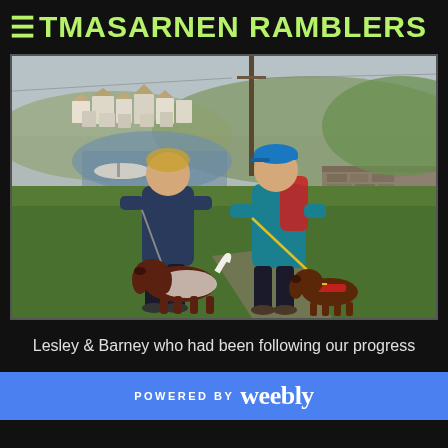TMASARNEN RAMBLERS
[Figure (photo): Two women standing on grass near a coastal town viewpoint, each holding a dog on a lead. Left woman wears dark blue jacket with a black and white springer spaniel. Right woman wears teal jacket and blue cap with a red-harnessed brown dog. Background shows coastal town with houses, boats in harbour, green hills, and a stone wall with bench.]
Lesley & Barney who had been following our progress
POWERED BY weebly